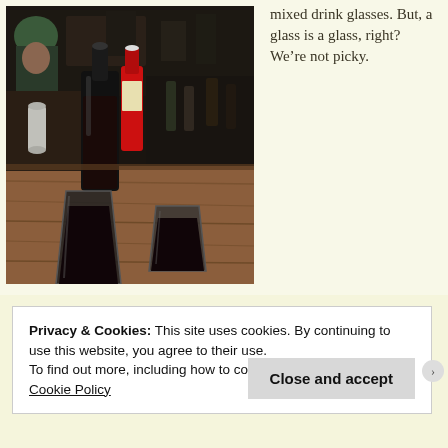[Figure (photo): Photo of a wooden restaurant table with a glass carafe filled with dark liquid (wine or juice), two short glasses also filled with dark liquid, a salt shaker, a red hot sauce bottle, and other condiments. A person wearing a green hat is partially visible in the background.]
mixed drink glasses. But, a glass is a glass, right? We're not picky.
Privacy & Cookies: This site uses cookies. By continuing to use this website, you agree to their use.
To find out more, including how to control cookies, see here:
Cookie Policy
Close and accept